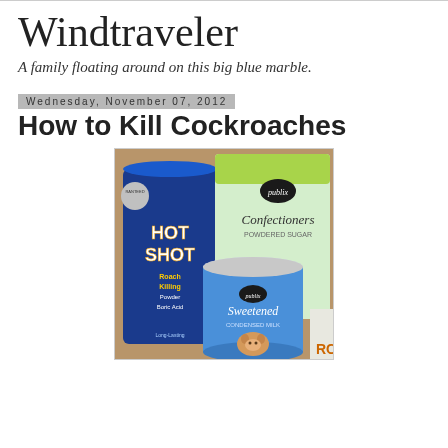Windtraveler
A family floating around on this big blue marble.
Wednesday, November 07, 2012
How to Kill Cockroaches
[Figure (photo): Photo of Hot Shot Roach Killing Powder with Boric Acid product, a can of Publix Sweetened Condensed Milk, and a bag of Publix Confectioners Powdered Sugar arranged together on a surface.]